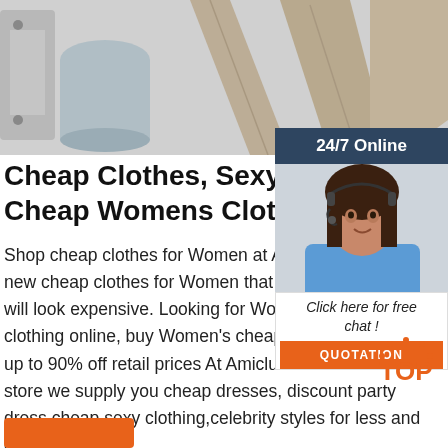[Figure (photo): Product photo strip showing beige trousers/pants, a cylindrical metal container, and a door hinge on a light gray background]
Cheap Clothes, Sexy Cheap Clot Cheap Womens Clothes
Shop cheap clothes for Women at AMIclu new cheap clothes for Women that are hi will look expensive. Looking for Women's clothing online, buy Women's cheap cloth up to 90% off retail prices At Amiclubwear's online dress store we supply you cheap dresses, discount party dress,cheap sexy clothing,celebrity styles for less and cheap ...
[Figure (photo): Live chat widget showing a smiling woman with headset, header reading '24/7 Online', and a button reading 'Click here for free chat!' with an orange QUOTATION button below]
[Figure (logo): Orange dotted TOP badge/logo in bottom-right area]